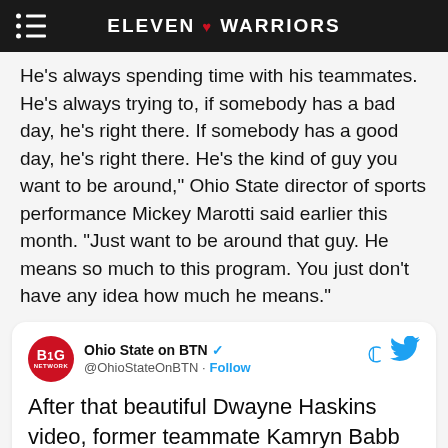ELEVEN ♥ WARRIORS
He's always spending time with his teammates. He's always trying to, if somebody has a bad day, he's right there. If somebody has a good day, he's right there. He's the kind of guy you want to be around," Ohio State director of sports performance Mickey Marotti said earlier this month. "Just want to be around that guy. He means so much to this program. You just don't have any idea how much he means."
Ohio State on BTN @OhioStateOnBTN · Follow

After that beautiful Dwayne Haskins video, former teammate Kamryn Babb (@kamm_o) led @OhioStateFB in